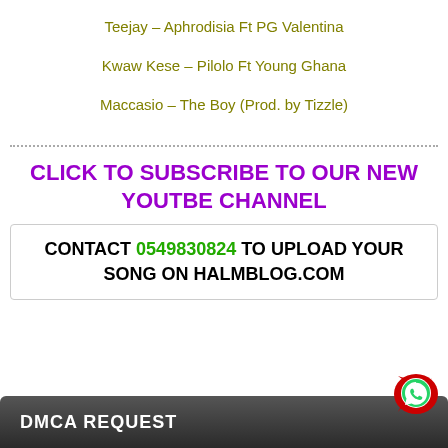Teejay – Aphrodisia Ft PG Valentina
Kwaw Kese – Pilolo Ft Young Ghana
Maccasio – The Boy (Prod. by Tizzle)
CLICK TO SUBSCRIBE TO OUR NEW YOUTBE CHANNEL
CONTACT 0549830824 TO UPLOAD YOUR SONG ON HALMBLOG.COM
DMCA REQUEST